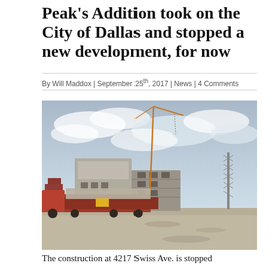Peak's Addition took on the City of Dallas and stopped a new development, for now
By Will Maddox | September 25th, 2017 | News | 4 Comments
[Figure (photo): Construction site at 4217 Swiss Ave. showing a flatbed truck in the foreground, concrete structures and a parking garage being built in the background, a tall crane, and a steel tower on the right, under a cloudy sky.]
The construction at 4217 Swiss Ave. is stopped